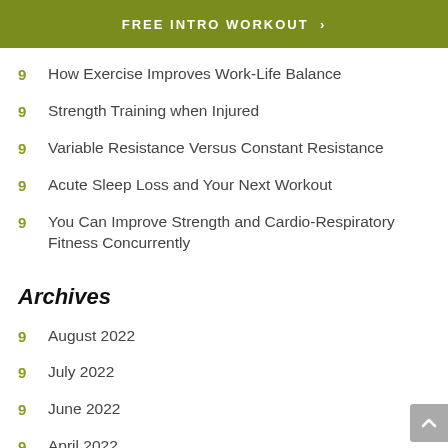FREE INTRO WORKOUT >
How Exercise Improves Work-Life Balance
Strength Training when Injured
Variable Resistance Versus Constant Resistance
Acute Sleep Loss and Your Next Workout
You Can Improve Strength and Cardio-Respiratory Fitness Concurrently
Archives
August 2022
July 2022
June 2022
April 2022